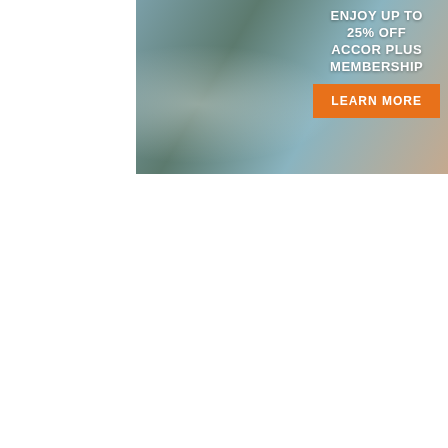[Figure (illustration): Advertisement banner showing a couple smiling with sparklers on a beach background. Text reads: ENJOY UP TO 25% OFF ACCOR PLUS MEMBERSHIP with an orange LEARN MORE button.]
On LFALtv
[Figure (screenshot): Video card thumbnail showing ITC Grand Goa Resort & Spa video with ALL loyalty program logo, title truncated as 'ITC Grand Goa Resort & Spa : T...' with three-dot menu icon and a close (X) button over a palm tree background.]